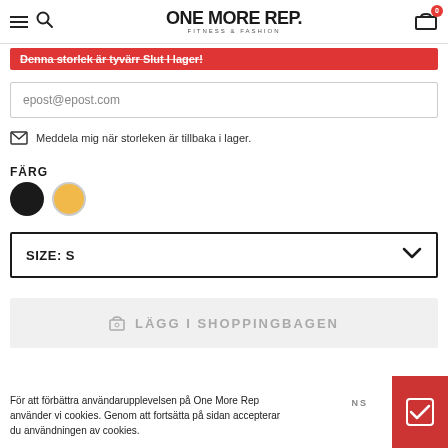[Figure (logo): One More Rep Fitness & Fashion logo with hamburger menu, search icon, and cart icon with badge showing 0]
Denna storlek är tyvärr Slut I lager!
epost@epost.com
Meddela mig när storleken är tillbaka i lager.
FÄRG
[Figure (illustration): Two color swatches: black circle and gold/amber circle]
SIZE: S
LÄGG I SHOPPINGBAGEN
För att förbättra användarupplevelsen på One More Rep använder vi cookies. Genom att fortsätta på sidan accepterar du användningen av cookies.